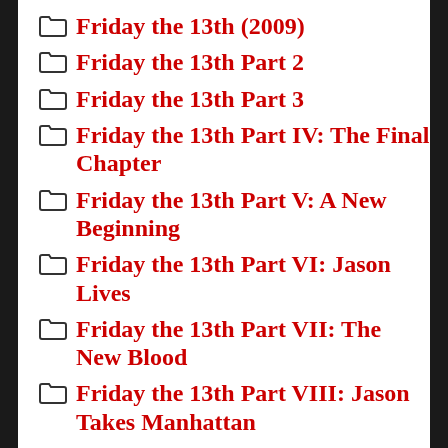Friday the 13th (2009)
Friday the 13th Part 2
Friday the 13th Part 3
Friday the 13th Part IV: The Final Chapter
Friday the 13th Part V: A New Beginning
Friday the 13th Part VI: Jason Lives
Friday the 13th Part VII: The New Blood
Friday the 13th Part VIII: Jason Takes Manhattan
Friend Request
Fright Night
Fright Night (2011)
Fright Night 2: New Blood
Frighteners
Frogs (1972)
Frozen